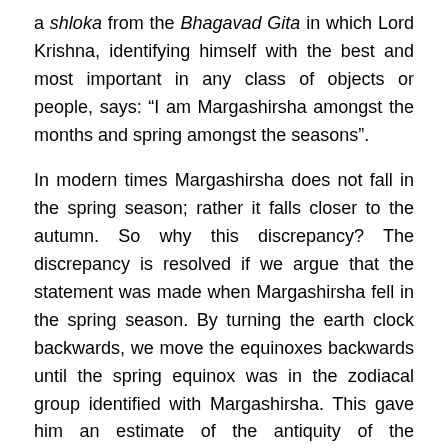a shloka from the Bhagavad Gita in which Lord Krishna, identifying himself with the best and most important in any class of objects or people, says: “I am Margashirsha amongst the months and spring amongst the seasons”.
In modern times Margashirsha does not fall in the spring season; rather it falls closer to the autumn. So why this discrepancy? The discrepancy is resolved if we argue that the statement was made when Margashirsha fell in the spring season. By turning the earth clock backwards, we move the equinoxes backwards until the spring equinox was in the zodiacal group identified with Margashirsha. This gave him an estimate of the antiquity of the statement.
Tilak used this approach to look at astronomical allusions in Vedic literature and from them sought to build up the